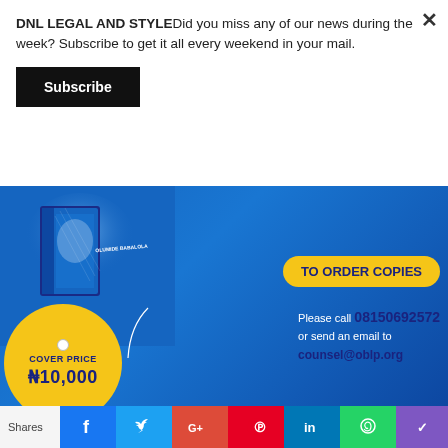DNL LEGAL AND STYLEDid you miss any of our news during the week? Subscribe to get it all every weekend in your mail.
Subscribe
[Figure (infographic): Book advertisement banner with blue background showing a book by Olumide Babalola, a yellow price tag circle reading COVER PRICE N10,000, a yellow pill button saying TO ORDER COPIES, and contact info: Please call 08150692572 or send an email to counsel@oblp.org]
Shares
[Figure (infographic): Social media sharing icons: Facebook (blue), Twitter (light blue), Google+ (red), Pinterest (red), LinkedIn (blue), WhatsApp (green), and one more purple icon]